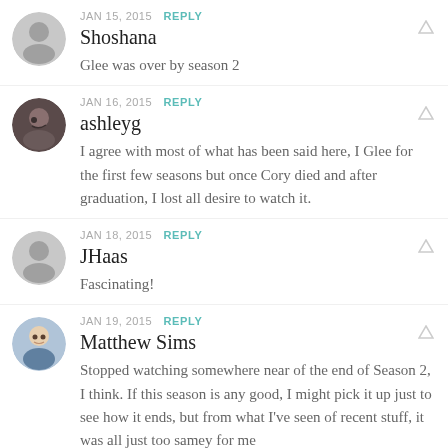JAN 15, 2015 REPLY
Shoshana
Glee was over by season 2
JAN 16, 2015 REPLY
ashleyg
I agree with most of what has been said here, I Glee for the first few seasons but once Cory died and after graduation, I lost all desire to watch it.
JAN 18, 2015 REPLY
JHaas
Fascinating!
JAN 19, 2015 REPLY
Matthew Sims
Stopped watching somewhere near of the end of Season 2, I think. If this season is any good, I might pick it up just to see how it ends, but from what I've seen of recent stuff, it was all just too samey for me